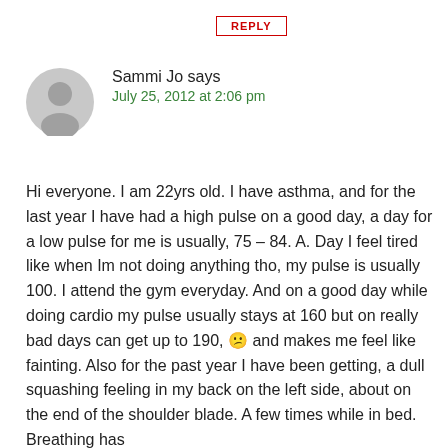REPLY
[Figure (illustration): Grey circular avatar icon with a person silhouette, representing a default user profile image]
Sammi Jo says
July 25, 2012 at 2:06 pm
Hi everyone. I am 22yrs old. I have asthma, and for the last year I have had a high pulse on a good day, a day for a low pulse for me is usually, 75 – 84. A. Day I feel tired like when Im not doing anything tho, my pulse is usually 100. I attend the gym everyday. And on a good day while doing cardio my pulse usually stays at 160 but on really bad days can get up to 190, 😕 and makes me feel like fainting. Also for the past year I have been getting, a dull squashing feeling in my back on the left side, about on the end of the shoulder blade. A few times while in bed. Breathing has